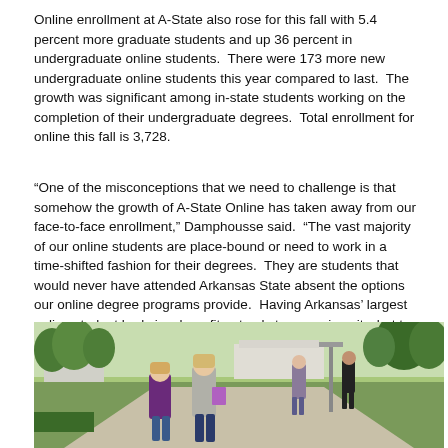Online enrollment at A-State also rose for this fall with 5.4 percent more graduate students and up 36 percent in undergraduate online students.  There were 173 more new undergraduate online students this year compared to last.  The growth was significant among in-state students working on the completion of their undergraduate degrees.  Total enrollment for online this fall is 3,728.
“One of the misconceptions that we need to challenge is that somehow the growth of A-State Online has taken away from our face-to-face enrollment,” Damphousse said.  “The vast majority of our online students are place-bound or need to work in a time-shifted fashion for their degrees.  They are students that would never have attended Arkansas State absent the options our online degree programs provide.  Having Arkansas’ largest online student body is a benefit not only to our university, but to the citizens of the state who are looking for ways to complete their degrees.”
[Figure (photo): Outdoor campus photo showing students walking on a path with trees, green grass, buildings, and a light pole in the background. Two women in the foreground, one in a purple shirt and one in a gray shirt holding a binder.]